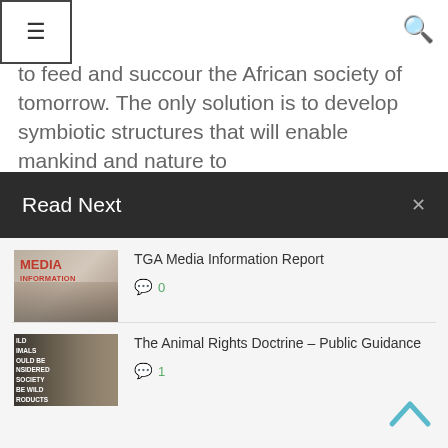≡  🔍
to feed and succour the African society of tomorrow. The only solution is to develop symbiotic structures that will enable mankind and nature to
Read Next
[Figure (photo): Thumbnail image showing a newspaper with 'MEDIA INFORMATION' text overlay in red]
TGA Media Information Report
💬 0
[Figure (photo): Thumbnail image of a lion with text overlay about wild animals and society]
The Animal Rights Doctrine – Public Guidance
💬 1